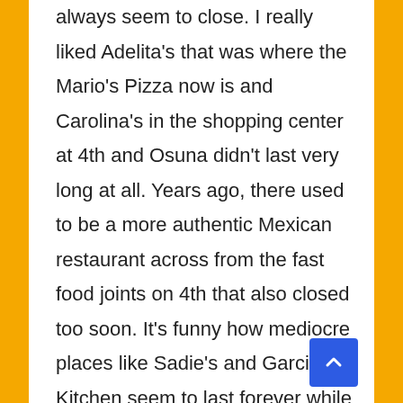always seem to close. I really liked Adelita's that was where the Mario's Pizza now is and Carolina's in the shopping center at 4th and Osuna didn't last very long at all. Years ago, there used to be a more authentic Mexican restaurant across from the fast food joints on 4th that also closed too soon. It's funny how mediocre places like Sadie's and Garcia's Kitchen seem to last forever while places with much better food fall by the wayside.